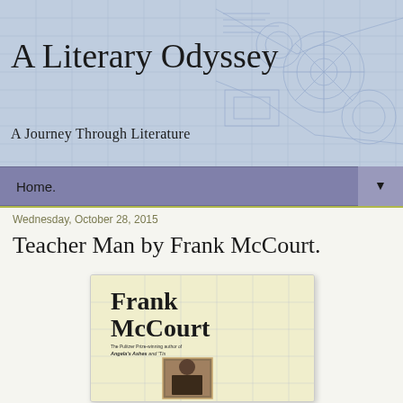A Literary Odyssey
A Journey Through Literature
Home. ▼
Wednesday, October 28, 2015
Teacher Man by Frank McCourt.
[Figure (illustration): Book cover of Teacher Man by Frank McCourt, featuring bold text 'Frank McCourt' at top, subtitle 'The Pulitzer Prize-winning author of Angela's Ashes and 'Tis', and a sepia photograph of a man below, on a cream/yellowish background.]